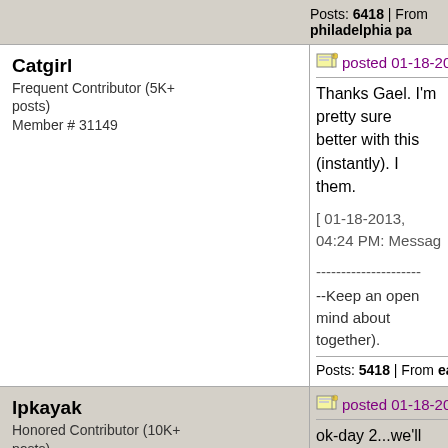Posts: 6418 | From philadelphia pa
Catgirl
Frequent Contributor (5K+ posts)
Member # 31149
posted 01-18-2013 10:37 AM
Thanks Gael. I'm pretty sure better with this (instantly). I them.

[ 01-18-2013, 04:24 PM: Messag

---------------------
--Keep an open mind about together).
Posts: 5418 | From earth | Registe
lpkayak
Honored Contributor (10K+ posts)
Member # 5230
posted 01-18-2013 11:41 AM
ok-day 2...we'll see.

i changed a few things up. i pee...then went back to bed

then on an empty stomach i

10 min later i had 6 oz wate

(got slightly nauteous-not ba